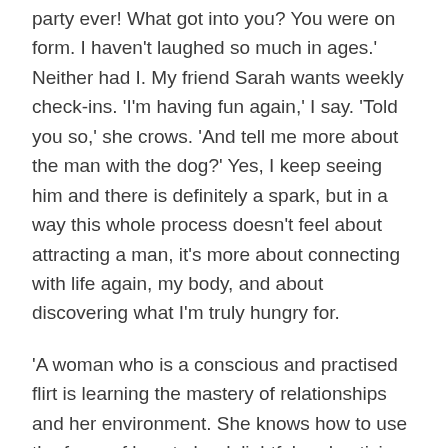party ever! What got into you? You were on form. I haven't laughed so much in ages.' Neither had I. My friend Sarah wants weekly check-ins. 'I'm having fun again,' I say. 'Told you so,' she crows. 'And tell me more about the man with the dog?' Yes, I keep seeing him and there is definitely a spark, but in a way this whole process doesn't feel about attracting a man, it's more about connecting with life again, my body, and about discovering what I'm truly hungry for.
'A woman who is a conscious and practised flirt is learning the mastery of relationships and her environment. She knows how to use the force of love to be delightful and enticing. She creates a waterfall of deliciousness for herself and others,' says Mackenzie. I'll raise a toast to that. May the force be with us all.